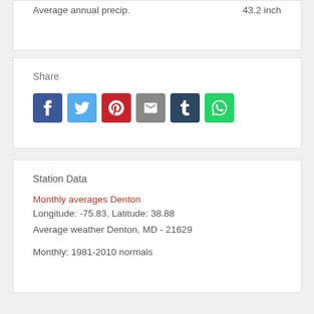Average annual precip.    43.2 inch
Share
[Figure (other): Social share buttons: Facebook, Twitter, Pinterest, Email, Tumblr, WhatsApp]
Station Data
Monthly averages Denton
Longitude: -75.83, Latitude: 38.88
Average weather Denton, MD - 21629
Monthly: 1981-2010 normals